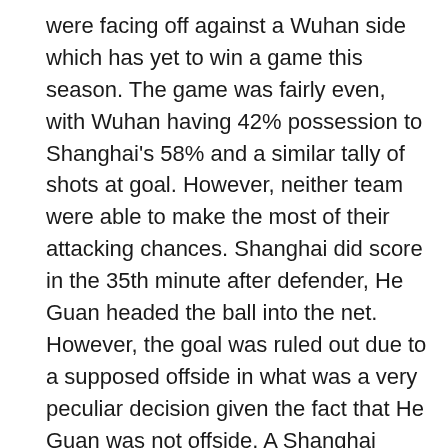were facing off against a Wuhan side which has yet to win a game this season. The game was fairly even, with Wuhan having 42% possession to Shanghai's 58% and a similar tally of shots at goal. However, neither team were able to make the most of their attacking chances. Shanghai did score in the 35th minute after defender, He Guan headed the ball into the net. However, the goal was ruled out due to a supposed offside in what was a very peculiar decision given the fact that He Guan was not offside. A Shanghai teammate was but had no involvement in the play. A questionable decision indeed, one which Shanghai could feel aggrieved with and even the Wuhan players did not think anything of it. The second half proved to be no different, with both sides having ample opportunites to go 1-0 up, but none having enough about them to put the ball in the net. Perhaps it might have been due to the two month